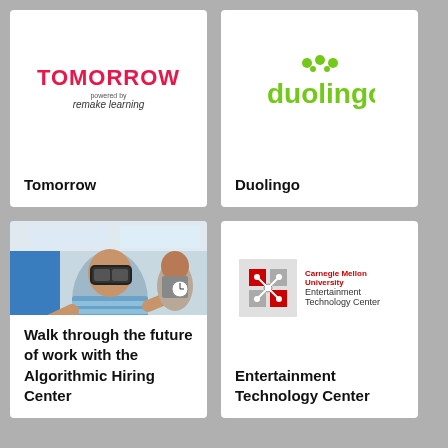[Figure (logo): Tomorrow powered by remake learning logo — red bold TOMORROW text with 'powered by' and 'remake learning' below]
Tomorrow
[Figure (logo): Duolingo logo — green text with owl dots above]
Duolingo
[Figure (photo): Child wearing VR headset in classroom, reaching forward, another student in background]
Walk through the future of work with the Algorithmic Hiring Center
[Figure (logo): Carnegie Mellon University Entertainment Technology Center logo]
Entertainment Technology Center